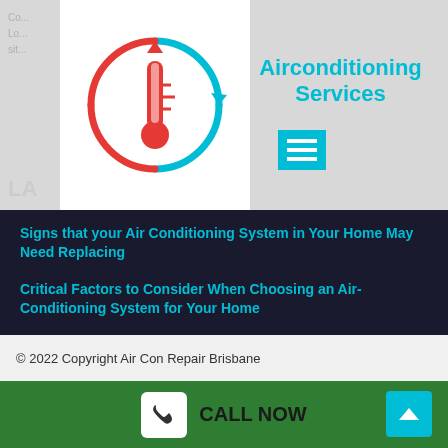[Figure (logo): Air conditioning service logo showing a thermometer inside a circular arrow icon with red and blue colors]
Airconditioning Services
Signs that your Air Conditioning System in Your Home May Need Replacing
Critical Factors to Consider When Choosing an Air-Conditioning System for Your Home
How to Find a Reliable HVAC Contractor
© 2022 Copyright Air Con Repair Brisbane
CALL NOW